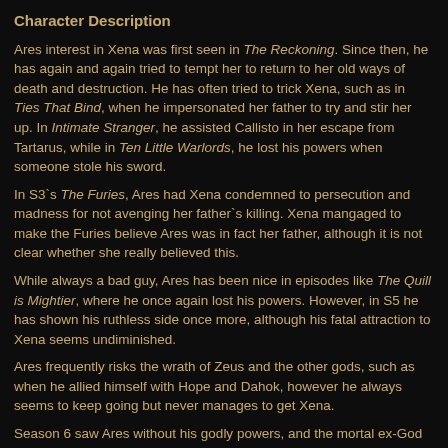Character Description
Ares interest in Xena was first seen in The Reckoning. Since then, he has again and again tried to tempt her to return to her old ways of death and destruction. He has often tried to trick Xena, such as in Ties That Bind, when he impersonated her father to try and stir her up. In Intimate Stranger, he assisted Callisto in her escape from Tartarus, while in Ten Little Warlords, he lost his powers when someone stole his sword.
In S3`s The Furies, Ares had Xena condemned to persecution and madness for not avenging her father`s killing. Xena mangaged to make the Furies believe Ares was in fact her father, although it is not clear whether she really believed this.
While always a bad guy, Ares has been nice in episodes like The Quill is Mightier, where he once again lost his powers. However, in S5 he has shown his ruthless side once more, although his fatal attraction to Xena seems undiminished.
Ares frequently risks the wrath of Zeus and the other gods, such as when he allied himself with Hope and Dahok, however he always seems to keep going but never manages to get Xena.
Season 6 saw Ares without his godly powers, and the mortal ex-God of War was a very different man. However, he still hasn't given up on winning Xena. Ares had his powers restored in You Are There, and makes his final appearance in Soul Possession.
Episodes